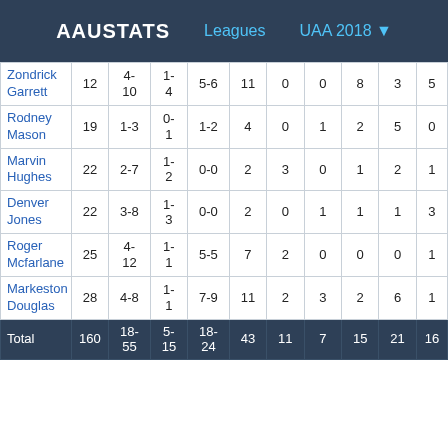AAUSTATS   Leagues   UAA 2018
|  |  |  |  |  |  |  |  |  |  |  |
| --- | --- | --- | --- | --- | --- | --- | --- | --- | --- | --- |
| Zondrick Garrett | 12 | 4-10 | 1-4 | 5-6 | 11 | 0 | 0 | 8 | 3 | 5 |
| Rodney Mason | 19 | 1-3 | 0-1 | 1-2 | 4 | 0 | 1 | 2 | 5 | 0 |
| Marvin Hughes | 22 | 2-7 | 1-2 | 0-0 | 2 | 3 | 0 | 1 | 2 | 1 |
| Denver Jones | 22 | 3-8 | 1-3 | 0-0 | 2 | 0 | 1 | 1 | 1 | 3 |
| Roger Mcfarlane | 25 | 4-12 | 1-1 | 5-5 | 7 | 2 | 0 | 0 | 0 | 1 |
| Markeston Douglas | 28 | 4-8 | 1-1 | 7-9 | 11 | 2 | 3 | 2 | 6 | 1 |
| Total | 160 | 18-55 | 5-15 | 18-24 | 43 | 11 | 7 | 15 | 21 | 16 |